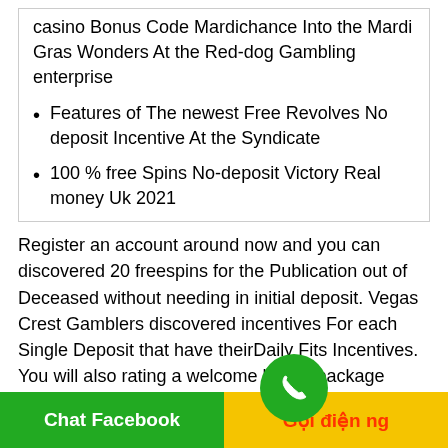casino Bonus Code Mardichance Into the Mardi Gras Wonders At the Red-dog Gambling enterprise
Features of The newest Free Revolves No deposit Incentive At the Syndicate
100 % free Spins No-deposit Victory Real money Uk 2021
Register an account around now and you can discovered 20 freespins for the Publication out of Deceased without needing in initial deposit. Vegas Crest Gamblers discovered incentives For each Single Deposit that have theirDaily Fits Incentives. You will also rating a welcome bonus package includign 150 totally free spins and you may €/$2 hundred inside the incentives along with...
Chat Facebook | Gọi điện ng...